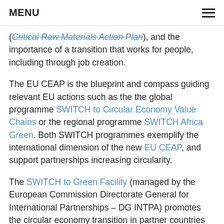MENU
(Critical Raw Materials Action Plan), and the importance of a transition that works for people, including through job creation.
The EU CEAP is the blueprint and compass guiding relevant EU actions such as the the global programme SWITCH to Circular Economy Value Chains or the regional programme SWITCH Africa Green. Both SWITCH programmes exemplify the international dimension of the new EU CEAP, and support partnerships increasing circularity.
The SWITCH to Green Facility (managed by the European Commission Directorate General for International Partnerships – DG INTPA) promotes the circular economy transition in partner countries and across the 17 SDGs, supporting targeted EU actions and integrating